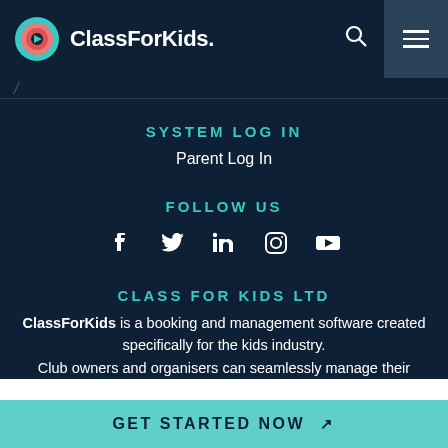[Figure (logo): ClassForKids logo with multicolor circle icon and white text]
SYSTEM LOG IN
Parent Log In
FOLLOW US
[Figure (illustration): Social media icons: Facebook, Twitter, LinkedIn, Instagram, YouTube]
CLASS FOR KIDS LTD
ClassForKids is a booking and management software created specifically for the kids industry. Club owners and organisers can seamlessly manage their
GET STARTED NOW